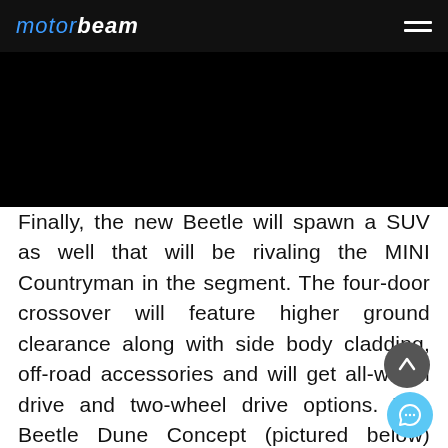MOTORBEAM
[Figure (photo): Black image area placeholder for an article photo]
Finally, the new Beetle will spawn a SUV as well that will be rivaling the MINI Countryman in the segment. The four-door crossover will feature higher ground clearance along with side body cladding, off-road accessories and will get all-wheel drive and two-wheel drive options. The Beetle Dune Concept (pictured below) showcased earlier this year, gives us a glimpse of what the SUV could look like in the future.